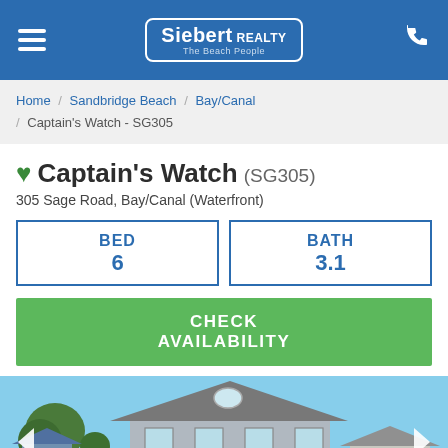Siebert Realty - The Beach People
Home / Sandbridge Beach / Bay/Canal / Captain's Watch - SG305
Captain's Watch (SG305)
305 Sage Road, Bay/Canal (Waterfront)
| BED | BATH |
| --- | --- |
| 6 | 3.1 |
CHECK AVAILABILITY
[Figure (photo): Exterior photo of Captain's Watch beach house at 305 Sage Road, a multi-story coastal home with grey siding, large windows, and wraparound decks, surrounded by trees.]